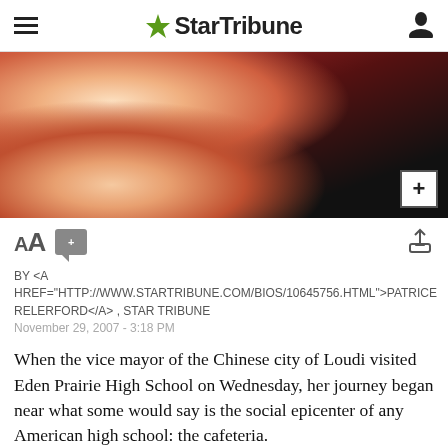★ StarTribune
[Figure (photo): Close-up photo of a person wearing a red turtleneck and dark patterned jacket, smiling. Another person in dark clothing is partially visible in the background.]
By <A HREF="HTTP://WWW.STARTRIBUNE.COM/BIOS/10645756.HTML">PATRICE RELERFORD</A> , STAR TRIBUNE
November 29, 2007 - 3:18 PM
When the vice mayor of the Chinese city of Loudi visited Eden Prairie High School on Wednesday, her journey began near what some would say is the social epicenter of any American high school: the cafeteria.
"Who pays for the food?" Vice Mayor Xintao Xiao asked Principal [...]  ined that the [...]  t the